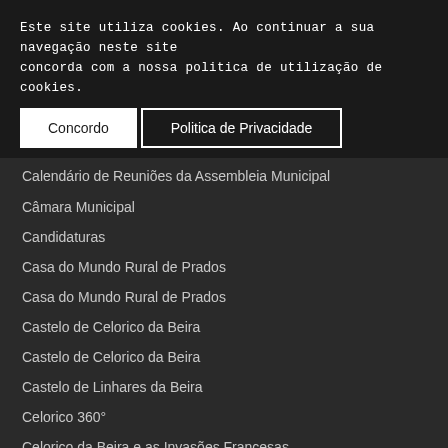Assembleia Municipal
Biblioteca Municipal
Biografia do Presidente Municipal
Bom Prosseguimento
Este site utiliza cookies. Ao continuar a sua navegação neste site concorda com a nossa politica de utilização de cookies.
Calendário de Reuniões da Assembleia Municipal
Câmara Municipal
Candidaturas
Casa do Mundo Rural de Prados
Casa do Mundo Rural de Prados
Castelo de Celorico da Beira
Castelo de Celorico da Beira
Castelo de Linhares da Beira
Celorico 360°
Celorico da Beira e as Invasões Francesas
Celorico Solidário | CLDS – 4G
Cinema – Centro Cultural